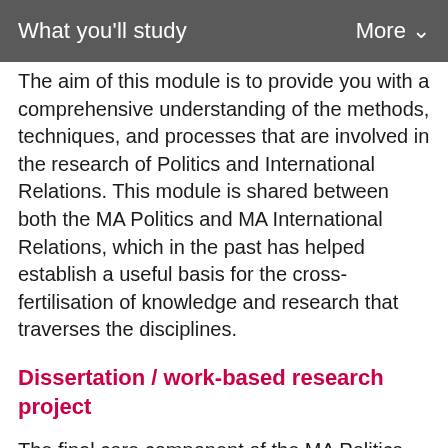What you'll study / More
The aim of this module is to provide you with a comprehensive understanding of the methods, techniques, and processes that are involved in the research of Politics and International Relations. This module is shared between both the MA Politics and MA International Relations, which in the past has helped establish a useful basis for the cross-fertilisation of knowledge and research that traverses the disciplines.
Dissertation / work-based research project
The final core component of the MA Politics course is an extended piece of written work, which entails two options. The first 'standard'